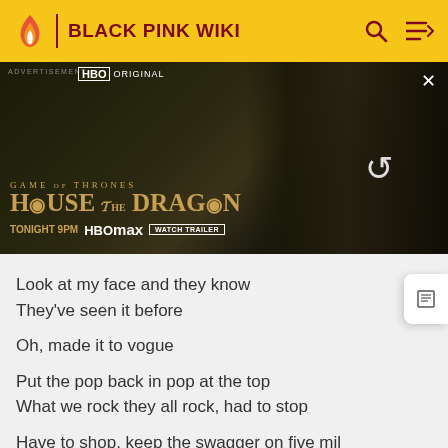BLACK PINK WIKI
[Figure (screenshot): HBO Original advertisement for House of the Dragon - Game of Thrones prequel. Shows a character in medieval costume with dragon imagery. Text reads: ADVERTISEMENT, HBO ORIGINAL, GAME OF THRONES, HOUSE OF THE DRAGON, TONIGHT 9PM, HBO max, WATCH TRAILER]
Look at my face and they know
They've seen it before
Oh, made it to vogue
Put the pop back in pop at the top
What we rock they all rock, had to stop
Have to shop, keep the swagger on five mil